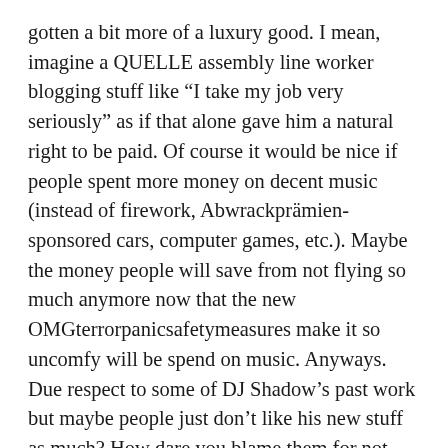gotten a bit more of a luxury good. I mean, imagine a QUELLE assembly line worker blogging stuff like “I take my job very seriously” as if that alone gave him a natural right to be paid. Of course it would be nice if people spent more money on decent music (instead of firework, Abwrackprämien-sponsored cars, computer games, etc.). Maybe the money people will save from not flying so much anymore now that the new OMGterrorpanicsafetymeasures make it so uncomfy will be spend on music. Anyways. Due respect to some of DJ Shadow’s past work but maybe people just don’t like his new stuff as much? How dare you blame them for not buying your music? Also if the world of the magic interweb moves too fast and in mysterious ways for you – ‘t’s not exactly your potential listener’s fault. Complaining about ‘them no buying’ doesn’t help. Somehow it s really bothers me how easy some artist are to blame vague entities like